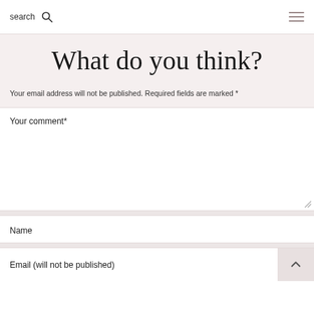search
What do you think?
Your email address will not be published. Required fields are marked *
Your comment*
Name
Email (will not be published)